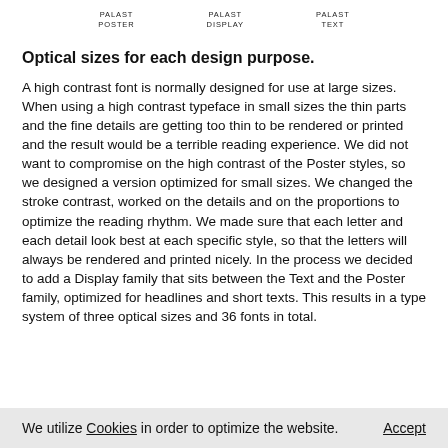PALAST POSTER    PALAST DISPLAY    PALAST TEXT
Optical sizes for each design purpose.
A high contrast font is normally designed for use at large sizes. When using a high contrast typeface in small sizes the thin parts and the fine details are getting too thin to be rendered or printed and the result would be a terrible reading experience. We did not want to compromise on the high contrast of the Poster styles, so we designed a version optimized for small sizes. We changed the stroke contrast, worked on the details and on the proportions to optimize the reading rhythm. We made sure that each letter and each detail look best at each specific style, so that the letters will always be rendered and printed nicely. In the process we decided to add a Display family that sits between the Text and the Poster family, optimized for headlines and short texts. This results in a type system of three optical sizes and 36 fonts in total.
We utilize Cookies in order to optimize the website.    Accept